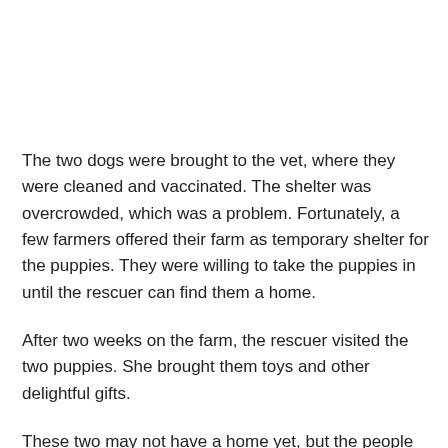The two dogs were brought to the vet, where they were cleaned and vaccinated. The shelter was overcrowded, which was a problem. Fortunately, a few farmers offered their farm as temporary shelter for the puppies. They were willing to take the puppies in until the rescuer can find them a home.
After two weeks on the farm, the rescuer visited the two puppies. She brought them toys and other delightful gifts.
These two may not have a home yet, but the people around them love them. They also have everything they need. This is all thanks to the rescuer who took a chance on them. The two little canines must be grateful for everything that she has done for them.
They must also be thankful for the farmers who took them in. These